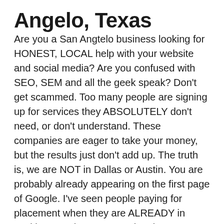Angelo, Texas
Are you a San Angtelo business looking for HONEST, LOCAL help with your website and social media? Are you confused with SEO, SEM and all the geek speak? Don't get scammed. Too many people are signing up for services they ABSOLUTELY don't need, or don't understand. These companies are eager to take your money, but the results just don't add up. The truth is, we are NOT in Dallas or Austin. You are probably already appearing on the first page of Google. I've seen people paying for placement when they are ALREADY in position #1! These comapnies don't even check your ranking before they cash your check!
In business since 1999, Mediajaw has almost 20